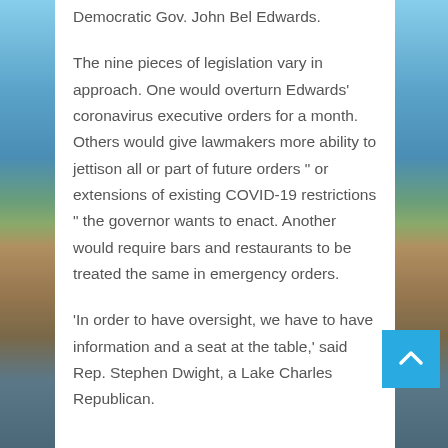Democratic Gov. John Bel Edwards.
The nine pieces of legislation vary in approach. One would overturn Edwards' coronavirus executive orders for a month. Others would give lawmakers more ability to jettison all or part of future orders " or extensions of existing COVID-19 restrictions " the governor wants to enact. Another would require bars and restaurants to be treated the same in emergency orders.
'In order to have oversight, we have to have information and a seat at the table,' said Rep. Stephen Dwight, a Lake Charles Republican.